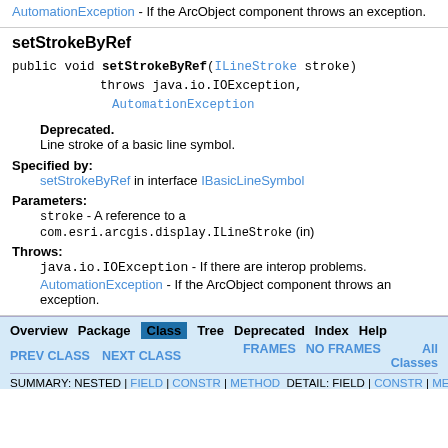AutomationException - If the ArcObject component throws an exception.
setStrokeByRef
public void setStrokeByRef(ILineStroke stroke)
                throws java.io.IOException,
                       AutomationException
Deprecated.
Line stroke of a basic line symbol.
Specified by:
 setStrokeByRef in interface IBasicLineSymbol
Parameters:
 stroke - A reference to a com.esri.arcgis.display.ILineStroke (in)
Throws:
 java.io.IOException - If there are interop problems.
 AutomationException - If the ArcObject component throws an exception.
Overview Package Class Tree Deprecated Index Help | PREV CLASS NEXT CLASS | FRAMES NO FRAMES All Classes | SUMMARY: NESTED | FIELD | CONSTR | METHOD DETAIL: FIELD | CONSTR | METHOD